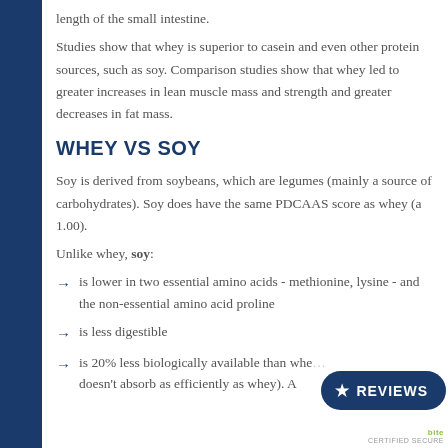length of the small intestine.
Studies show that whey is superior to casein and even other protein sources, such as soy. Comparison studies show that whey led to greater increases in lean muscle mass and strength and greater decreases in fat mass.
WHEY VS SOY
Soy is derived from soybeans, which are legumes (mainly a source of carbohydrates). Soy does have the same PDCAAS score as whey (a 1.00).
Unlike whey, soy:
is lower in two essential amino acids - methionine, lysine - and the non-essential amino acid proline
is less digestible
is 20% less biologically available than whe... doesn't absorb as efficiently as whey). A